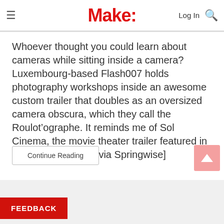Make:
Whoever thought you could learn about cameras while sitting inside a camera? Luxembourg-based Flash007 holds photography workshops inside an awesome custom trailer that doubles as an oversized camera obscura, which they call the Roulot’ographe. It reminds me of Sol Cinema, the movie theater trailer featured in MAKE Volume 25. [via Springwise]
Continue Reading
FEEDBACK